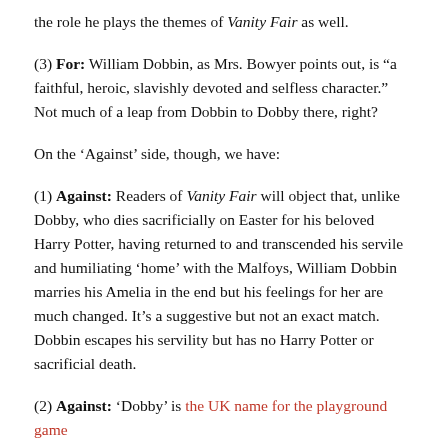the role he plays the themes of Vanity Fair as well.
(3) For: William Dobbin, as Mrs. Bowyer points out, is “a faithful, heroic, slavishly devoted and selfless character.” Not much of a leap from Dobbin to Dobby there, right?
On the ‘Against’ side, though, we have:
(1) Against: Readers of Vanity Fair will object that, unlike Dobby, who dies sacrificially on Easter for his beloved Harry Potter, having returned to and transcended his servile and humiliating ‘home’ with the Malfoys, William Dobbin marries his Amelia in the end but his feelings for her are much changed. It’s a suggestive but not an exact match. Dobbin escapes his servility but has no Harry Potter or sacrificial death.
(2) Against: ‘Dobby’ is the UK name for the playground game